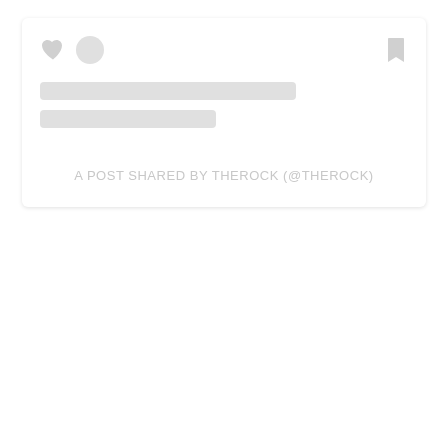[Figure (screenshot): A social media post card placeholder with skeleton loading state. Shows two circular placeholder icons and a heart icon on the left, a bookmark icon on the right, two gray skeleton lines representing text, and a centered caption reading 'A POST SHARED BY THEROCK (@THEROCK)' in light gray uppercase text.]